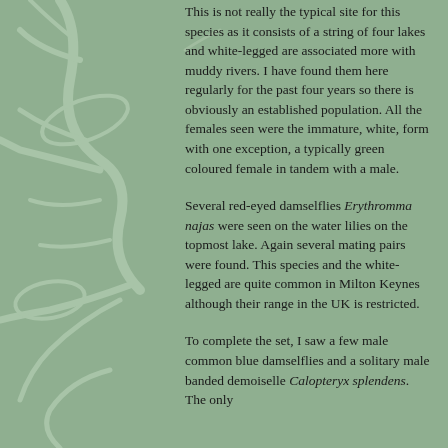This is not really the typical site for this species as it consists of a string of four lakes and white-legged are associated more with muddy rivers. I have found them here regularly for the past four years so there is obviously an established population. All the females seen were the immature, white, form with one exception, a typically green coloured female in tandem with a male.
Several red-eyed damselflies Erythromma najas were seen on the water lilies on the topmost lake. Again several mating pairs were found. This species and the white-legged are quite common in Milton Keynes although their range in the UK is restricted.
To complete the set, I saw a few male common blue damselflies and a solitary male banded demoiselle Calopteryx splendens. The only...